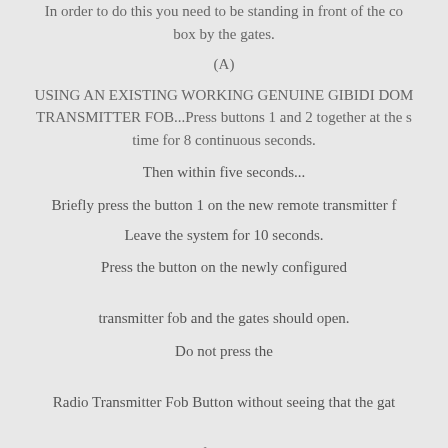In order to do this you need to be standing in front of the control box by the gates.
(A)
USING AN EXISTING WORKING GENUINE GIBIDI DOM TRANSMITTER FOB...Press buttons 1 and 2 together at the same time for 8 continuous seconds.
Then within five seconds...
Briefly press the button 1 on the new remote transmitter fob.
Leave the system for 10 seconds.
Press the button on the newly configured transmitter fob and the gates should open.
Do not press the Radio Transmitter Fob Button without seeing that the gates are clear of obstructions.